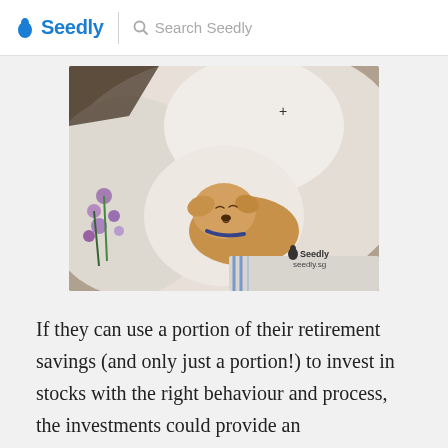Seedly  Search Seedly
[Figure (photo): A small chihuahua dog sleeping comfortably nestled in white pillows/cushions with some purple flowers visible on the left side. Seedly watermark in the bottom right corner with seedly.sg URL.]
If they can use a portion of their retirement savings (and only just a portion!) to invest in stocks with the right behaviour and process, the investments could provide an